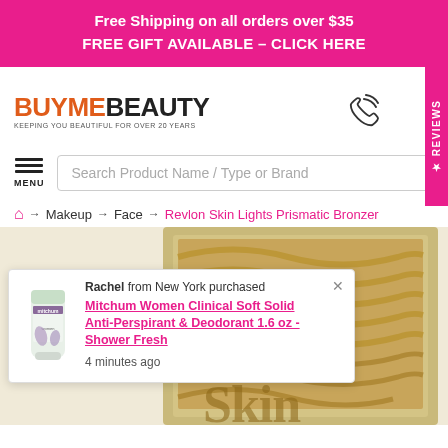Free Shipping on all orders over $35
FREE GIFT AVAILABLE - CLICK HERE
[Figure (logo): BuyMeBeauty logo with tagline 'KEEPING YOU BEAUTIFUL FOR OVER 20 YEARS']
[Figure (screenshot): Search bar with placeholder text 'Search Product Name / Type or Brand' and hamburger menu button labeled MENU]
Makeup → Face → Revlon Skin Lights Prismatic Bronzer
[Figure (photo): Revlon Skin Lights Prismatic Bronzer product image with popup notification: Rachel from New York purchased Mitchum Women Clinical Soft Solid Anti-Perspirant & Deodorant 1.6 oz - Shower Fresh, 4 minutes ago]